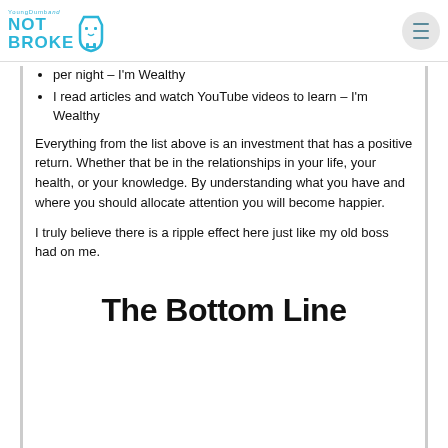YoungDumbandNOTBROKE logo and hamburger menu
per night – I'm Wealthy
I read articles and watch YouTube videos to learn – I'm Wealthy
Everything from the list above is an investment that has a positive return. Whether that be in the relationships in your life, your health, or your knowledge. By understanding what you have and where you should allocate attention you will become happier.
I truly believe there is a ripple effect here just like my old boss had on me.
The Bottom Line